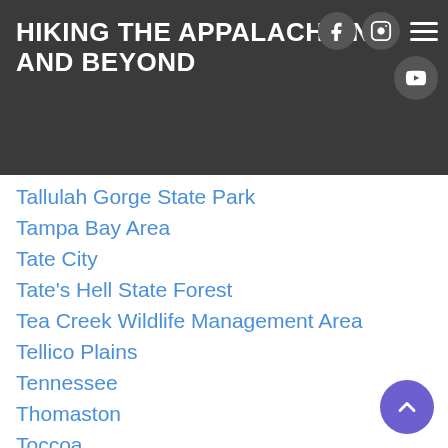HIKING THE APPALACHIANS AND BEYOND
Tallulah Gorge State Park
Tampa Bay Area
Tate City
Tate's Hell State Forest
Tea Creek Wildlife Management Area
Tellico Plains
Tennessee
Thomaston
Toccoa
Topsail Hill State Park
Torreya State Park
Townsend
Tracy City
Tray Mountain Wilderness
Trenton